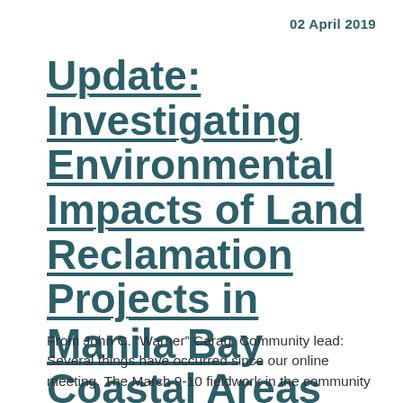02 April 2019
Update: Investigating Environmental Impacts of Land Reclamation Projects in Manila Bay Coastal Areas
From John C. “Warner” Carag, Community lead: Several things have occurred since our online meeting. The March 9-10 fieldwork in the community